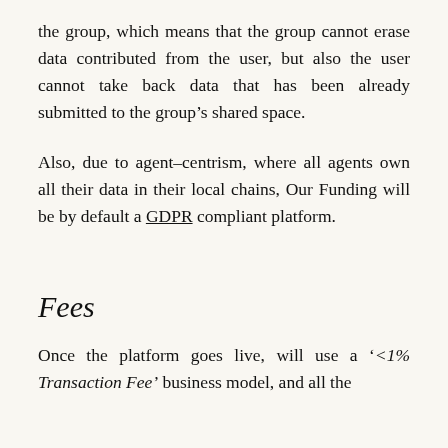the group, which means that the group cannot erase data contributed from the user, but also the user cannot take back data that has been already submitted to the group’s shared space.
Also, due to agent-centrism, where all agents own all their data in their local chains, Our Funding will be by default a GDPR compliant platform.
Fees
Once the platform goes live, will use a ‘<1% Transaction Fee’ business model, and all the